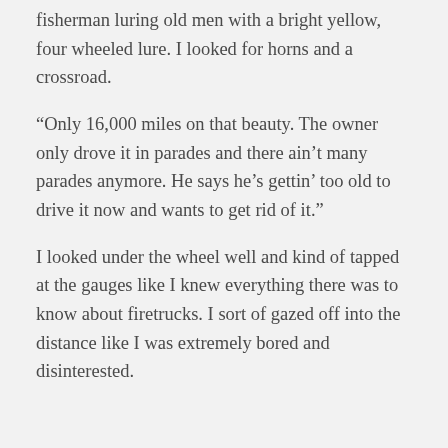fisherman luring old men with a bright yellow, four wheeled lure.  I looked for horns and a crossroad.
“Only 16,000 miles on that beauty.  The owner only drove it in parades and there ain’t many parades anymore.  He says he’s gettin’ too old to drive it now and wants to get rid of it.”
I looked under the wheel well and kind of tapped at the gauges like I knew everything there was to know about firetrucks.  I sort of gazed off into the distance like I was extremely bored and disinterested.